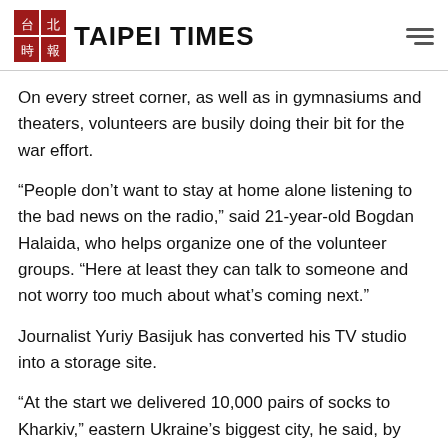TAIPEI TIMES
On every street corner, as well as in gymnasiums and theaters, volunteers are busily doing their bit for the war effort.
“People don’t want to stay at home alone listening to the bad news on the radio,” said 21-year-old Bogdan Halaida, who helps organize one of the volunteer groups. “Here at least they can talk to someone and not worry too much about what’s coming next.”
Journalist Yuriy Basijuk has converted his TV studio into a storage site.
“At the start we delivered 10,000 pairs of socks to Kharkiv,” eastern Ukraine’s biggest city, he said, by way of illustrating the diverse needs in times of war.